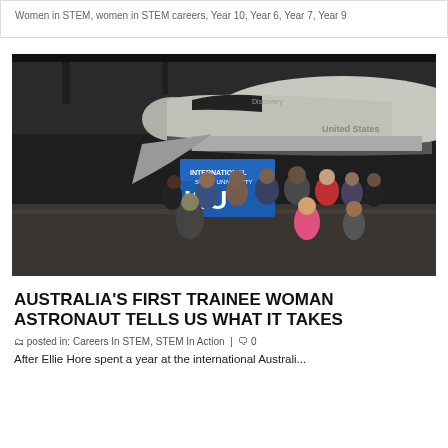Women in STEM, women in STEM careers, Year 10, Year 6, Year 7, Year 9
[Figure (photo): Group of people posing in front of a Space Shuttle in a large hangar. They are holding an International Space University (ISU) banner.]
AUSTRALIA'S FIRST TRAINEE WOMAN ASTRONAUT TELLS US WHAT IT TAKES
8 OCT 2021
posted in: Careers In STEM, STEM In Action  |  0
After Ellie Hore spent a year at the international Australi...